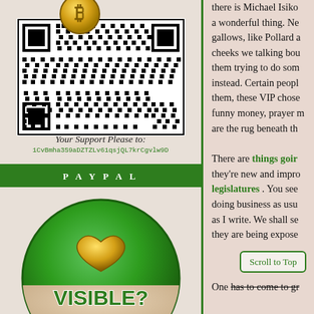[Figure (other): Bitcoin QR code with Bitcoin logo coin on top]
Your Support Please to:
1CvBmha3S9aDZTZLv61qsjQL7krCgvlw9D
PAYPAL
[Figure (illustration): Green PayPal support button badge with gold heart, text VISIBLE? Click here to support him! PAYPAL]
there is Michael Isiko... a wonderful thing. Ne... gallows, like Pollard a... cheeks we talking bou... them trying to do som... instead. Certain peopl... them, these VIP chose... funny money, prayer m... are the rug beneath th...
There are things going... they're new and impro... legislatures . You see... doing business as usu... as I write. We shall se... they are being expose...
Scroll to Top
One has to come to gr...